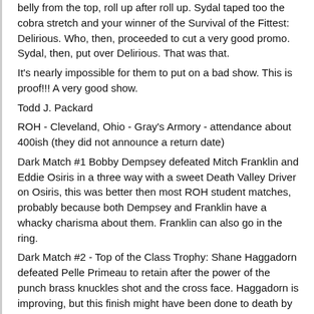belly from the top, roll up after roll up. Sydal taped too the cobra stretch and your winner of the Survival of the Fittest: Delirious. Who, then, proceeded to cut a very good promo. Sydal, then, put over Delirious. That was that.
It's nearly impossible for them to put on a bad show. This is proof!!! A very good show.
Todd J. Packard
ROH - Cleveland, Ohio - Gray's Armory - attendance about 400ish (they did not announce a return date)
Dark Match #1 Bobby Dempsey defeated Mitch Franklin and Eddie Osiris in a three way with a sweet Death Valley Driver on Osiris, this was better then most ROH student matches, probably because both Dempsey and Franklin have a whacky charisma about them. Franklin can also go in the ring.
Dark Match #2 - Top of the Class Trophy: Shane Haggadorn defeated Pelle Primeau to retain after the power of the punch brass knuckles shot and the cross face. Haggadorn is improving, but this finish might have been done to death by now.
"Handsome" Bobby Cruise is not in Cleveland, as the voice of ROH play by play Dave Prazak is handling the Ring